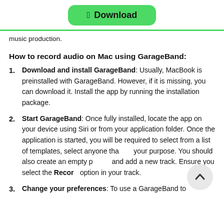[Figure (other): Green Download button with Apple logo]
music production.
How to record audio on Mac using GarageBand:
Download and install GarageBand: Usually, MacBook is preinstalled with GarageBand. However, if it is missing, you can download it. Install the app by running the installation package.
Start GarageBand: Once fully installed, locate the app on your device using Siri or from your application folder. Once the application is started, you will be required to select from a list of templates, select anyone that fits your purpose. You should also create an empty project and add a new track. Ensure you select the Record option in your track.
Change your preferences: To use a GarageBand to